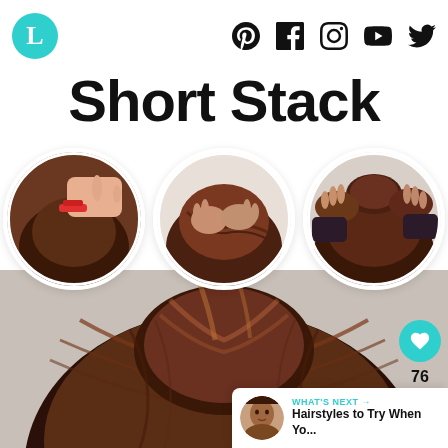L | Pinterest | Facebook | Instagram | YouTube | Twitter
Short Stack
[Figure (photo): Three circular photos showing hairstyling steps for a short stacked bun: step 1 shows hands pulling hair with a red clip, step 2 shows hands gathering hair at nape, step 3 shows hands arranging a bun on top of short hair.]
[Figure (photo): Main large photo showing back of woman's head with a loose messy updo bun hairstyle, auburn/brown hair.]
76
WHAT'S NEXT → Hairstyles to Try When Yo...